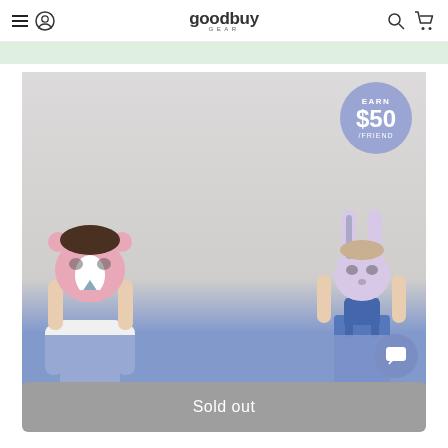goodbuy GEAR — navigation bar with hamburger menu, user icon, logo, search, and cart
[Figure (photo): Two children holding animal masks (lion and bunny) over their faces, wearing white shirts and denim overalls, against a light grey background. A blue promotional banner is at the bottom of the image. An 'EARN $50 /FRIEND' badge appears in the top-right corner of the image.]
Sold out